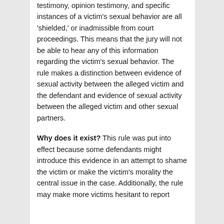testimony, opinion testimony, and specific instances of a victim's sexual behavior are all 'shielded,' or inadmissible from court proceedings. This means that the jury will not be able to hear any of this information regarding the victim's sexual behavior. The rule makes a distinction between evidence of sexual activity between the alleged victim and the defendant and evidence of sexual activity between the alleged victim and other sexual partners.
Why does it exist? This rule was put into effect because some defendants might introduce this evidence in an attempt to shame the victim or make the victim's morality the central issue in the case. Additionally, the rule may make more victims hesitant to report